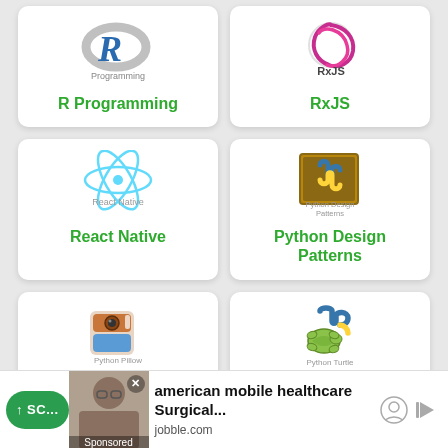[Figure (logo): R Programming logo - grey ring with blue R letter]
R Programming
[Figure (logo): RxJS logo - pink/magenta angular swirl circle]
RxJS
[Figure (logo): React Native logo - blue atom/electron orbits symbol]
React Native
[Figure (logo): Python Design Patterns logo - Python snake logo in gold bordered box]
Python Design Patterns
[Figure (logo): Python Pillow logo - colorful image with camera/pillow icon]
Python Pillow
[Figure (logo): Python Turtle logo - Python snake with turtle]
Python Turtle
american mobile healthcare Surgical... jobble.com